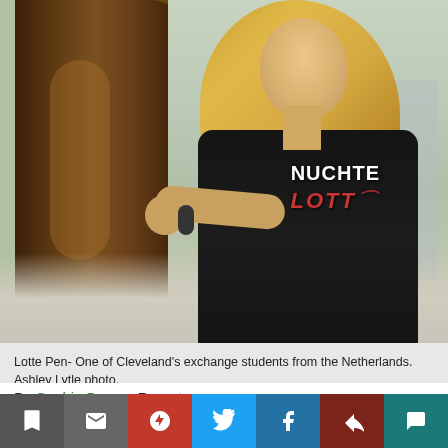[Figure (photo): Young woman with long blonde hair leaning against a tree trunk, wearing a black shirt with 'NUCHTE LOTT' text. Outdoor setting with trees and pavement in background.]
Lotte Pen- One of Cleveland's exchange students from the Netherlands. Ashley Lytle photo.
By Sophie Brown, Reporter
October 26, 2015